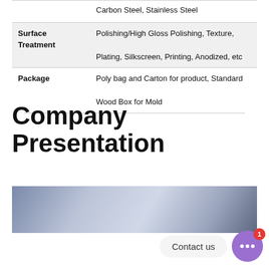|  |  |
| --- | --- |
|  | Carbon Steel, Stainless Steel |
| Surface Treatment | Polishing/High Gloss Polishing, Texture, Plating, Silkscreen, Printing, Anodized, etc |
| Package | Poly bag and Carton for product, Standard Wood Box for Mold |
Company Presentation
[Figure (photo): Blue-grey abstract background image, likely a product or material surface, used as a banner for the company presentation section.]
Contact us